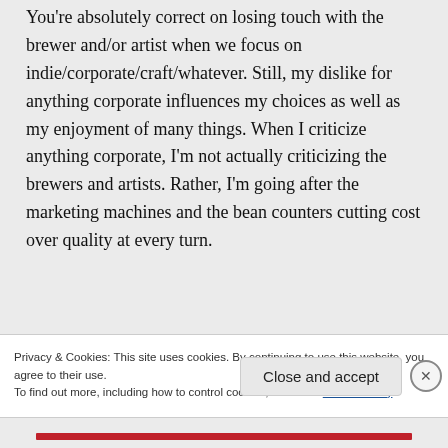You're absolutely correct on losing touch with the brewer and/or artist when we focus on indie/corporate/craft/whatever. Still, my dislike for anything corporate influences my choices as well as my enjoyment of many things. When I criticize anything corporate, I'm not actually criticizing the brewers and artists. Rather, I'm going after the marketing machines and the bean counters cutting cost over quality at every turn.
Privacy & Cookies: This site uses cookies. By continuing to use this website, you agree to their use.
To find out more, including how to control cookies, see here: Cookie Policy